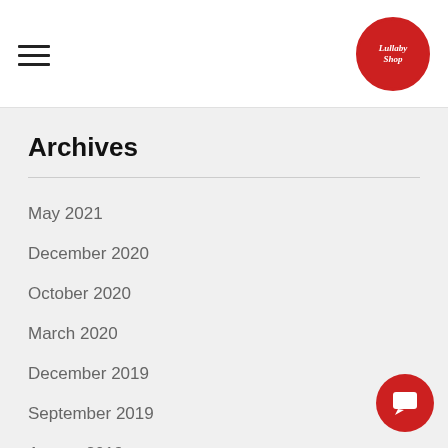Lullaby Shop
Archives
May 2021
December 2020
October 2020
March 2020
December 2019
September 2019
August 2019
June 2019
April 2019